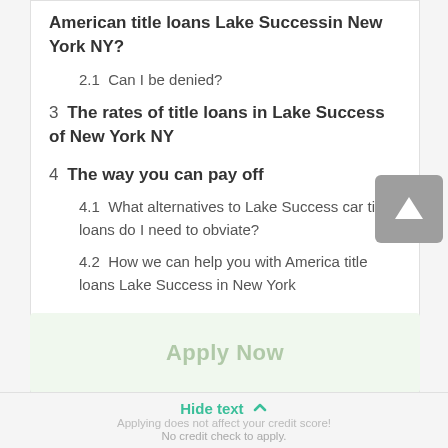American title loans Lake Successin New York NY?
2.1  Can I be denied?
3  The rates of title loans in Lake Success of New York NY
4  The way you can pay off
4.1  What alternatives to Lake Success car title loans do I need to obviate?
4.2  How we can help you with America title loans Lake Success in New York
Apply Now
Hide text
Applying does not affect your credit score! No credit check to apply.